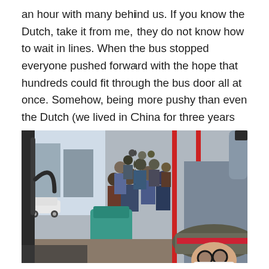an hour with many behind us. If you know the Dutch, take it from me, they do not know how to wait in lines. When the bus stopped everyone pushed forward with the hope that hundreds could fit through the bus door all at once. Somehow, being more pushy than even the Dutch (we lived in China for three years and became good at getting into overcrowded areas) we not only got onto the bus, with my large camera bag included, but we got a seat. Not just any seat but the front seat.
[Figure (photo): Interior view of a crowded bus from the front seat. Many passengers are standing in the aisle. A person wearing a hat with a red band and glasses and a white face mask is visible in the foreground bottom right. Red handrails are visible. Outside the window a white car and buildings are visible.]